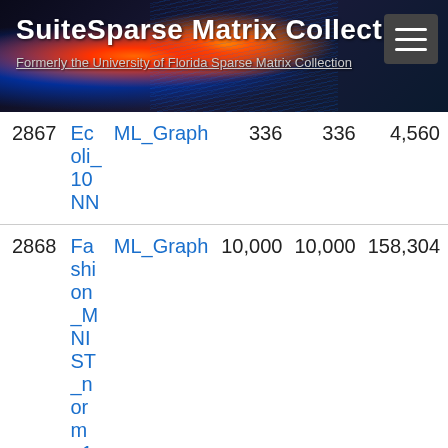SuiteSparse Matrix Collection — Formerly the University of Florida Sparse Matrix Collection
| ID | Name | Group | Rows | Cols | Nonzeros |
| --- | --- | --- | --- | --- | --- |
| 2867 | Ecoli_10NN | ML_Graph | 336 | 336 | 4,560 |
| 2868 | Fashion_MNIST_norm_10NN | ML_Graph | 10,000 | 10,000 | 158,304 |
| 2869 | Glass_10NN | ML_Graph | 214 | 214 | 2,986 |
| 2870 | har_10NN | ML_Graph | 10,299 | 10,299 | 151,736 |
| 2871 | indianpines_10NN | ML_Graph | 9,144 | 9,144 | 124,656 |
| 2872 | iris_dataset_30NN | ML_Graph | 150 | 150 | 5,518 |
| 2873 | JapaneseVowelsSmall_10NN | ML_Graph | 9,961 | 9,961 | 131,144 |